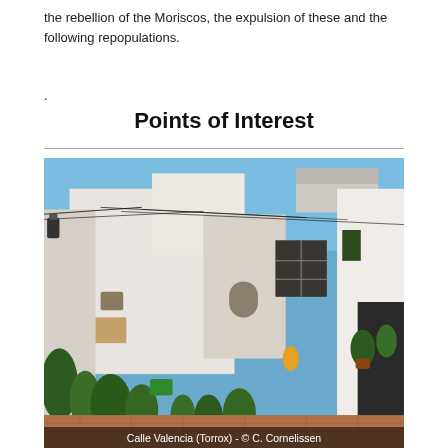the rebellion of the Moriscos, the expulsion of these and the following repopulations.
.
Points of Interest
[Figure (photo): Street scene of Calle Valencia in Torrox, showing whitewashed Andalusian buildings, potted plants, and a narrow street with overhead wires. Blue sky visible above.]